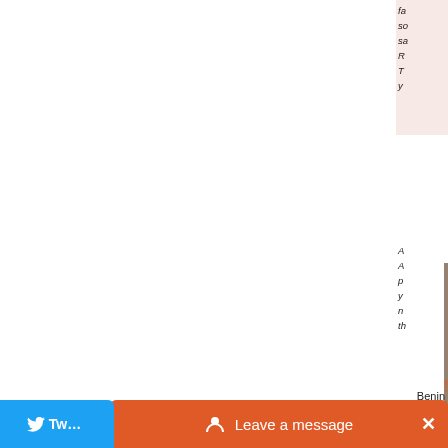fa so sa R T y
[Figure (photo): Portrait photo of Ms. Noémie Lucrèce HOUNTONDJI, a young woman wearing a patterned blue and white headwrap, looking at camera. Country: Benin.]
Benin
A A p y n t
Ms. Noémie Lucrèce HOUNTONDJI
« first  ‹ previous  1  2  3
Leave a message  ×